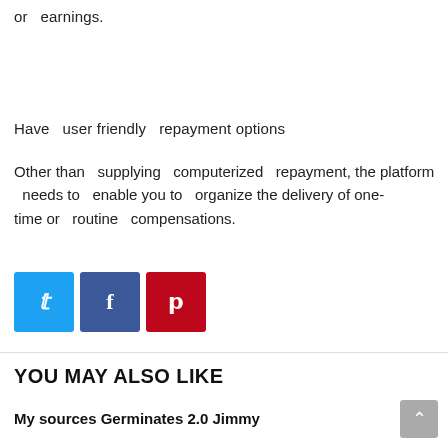or  earnings.
Have  user friendly  repayment options
Other than  supplying  computerized  repayment, the platform needs to  enable you to  organize the delivery of one-time or  routine  compensations.
[Figure (infographic): Three social media share buttons: Twitter (blue), Facebook (dark blue), Pinterest (red)]
YOU MAY ALSO LIKE
My sources Germinates 2.0 Jimmy